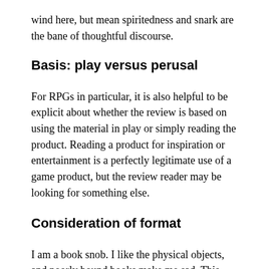wind here, but mean spiritedness and snark are the bane of thoughtful discourse.
Basis: play versus perusal
For RPGs in particular, it is also helpful to be explicit about whether the review is based on using the material in play or simply reading the product. Reading a product for inspiration or entertainment is a perfectly legitimate use of a game product, but the review reader may be looking for something else.
Consideration of format
I am a book snob. I like the physical objects, and poorly bound books make me sad. This means that, generally, I avoid print on demand books for anything other than small booklets or pamphlets. If it is hardcover, I want stitched binding, not glue; the two are very different.